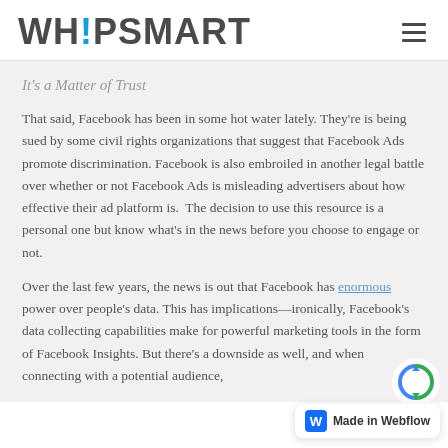WHIPSMART
It's a Matter of Trust
That said, Facebook has been in some hot water lately. They're is being sued by some civil rights organizations that suggest that Facebook Ads promote discrimination. Facebook is also embroiled in another legal battle over whether or not Facebook Ads is misleading advertisers about how effective their ad platform is. The decision to use this resource is a personal one but know what's in the news before you choose to engage or not.
Over the last few years, the news is out that Facebook has enormous power over people's data. This has implications—ironically, Facebook's data collecting capabilities make for powerful marketing tools in the form of Facebook Insights. But there's a downside as well, and when connecting with a potential audience,